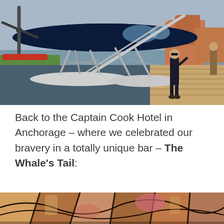[Figure (photo): A seaplane (floatplane) docked at a wooden pier. A person stands on the float next to the aircraft, holding onto a strut. The plane has a dark navy/blue body with a visible propeller. Water and buildings are visible in the background. Sunny day.]
Back to the Captain Cook Hotel in Anchorage – where we celebrated our bravery in a totally unique bar – The Whale's Tail:
[Figure (photo): Bottom portion of an artistic image showing colorful abstract or decorative art, appearing to show metallic or painted surfaces with warm tones of orange, brown and pink with dark outlines, likely interior decor of The Whale's Tail bar.]